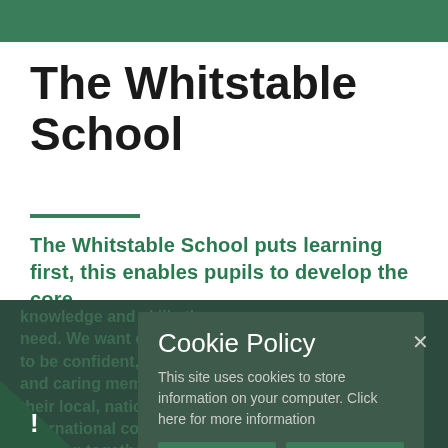The Whitstable School
The Whitstable School puts learning first, this enables pupils to develop the core knowledge and skills they need. We want every pupil to be confident, curious and caring members of their local, national and international community, working together to promote justice, tolerance and peace.
Cookie Policy
This site uses cookies to store information on your computer. Click here for more information